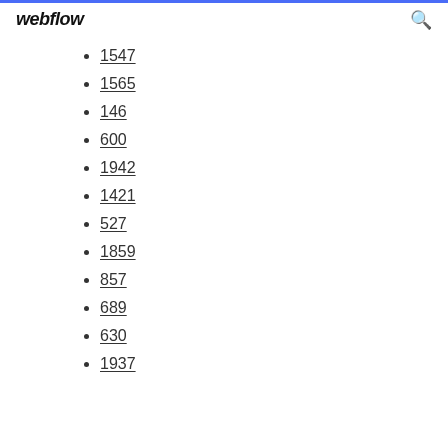webflow
1547
1565
146
600
1942
1421
527
1859
857
689
630
1937